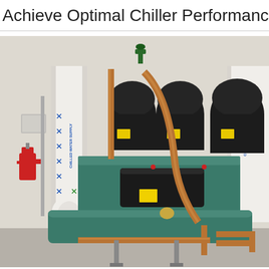Achieve Optimal Chiller Performance in S…
[Figure (photo): Industrial chiller plant equipment showing multiple black scroll compressors mounted on a teal/green chiller unit frame, white insulated pipes and vessels on the left, copper refrigerant piping throughout, a red fire suppression device on the left wall, blue dashed flow direction arrows on the white pipes labeled 'Chilled Water Return' and 'Chilled Water Supply', and equipment sitting on a gray concrete floor in a mechanical room.]